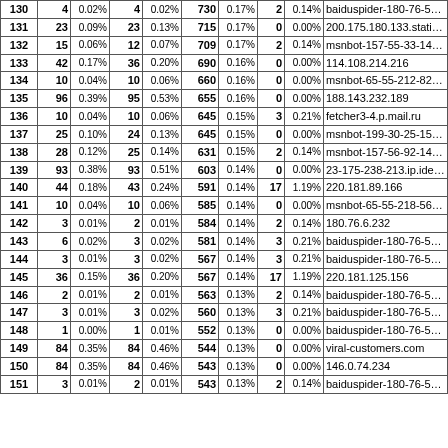| # | Visits | % | Unique | % | Bytes | % | Err | % | Host |
| --- | --- | --- | --- | --- | --- | --- | --- | --- | --- |
| 130 | 4 | 0.02% | 4 | 0.02% | 730 | 0.17% | 2 | 0.14% | baiduspider-180-76-5-70.cra |
| 131 | 23 | 0.09% | 23 | 0.13% | 715 | 0.17% | 0 | 0.00% | 200.175.180.133.static.gvt.ne |
| 132 | 15 | 0.06% | 12 | 0.07% | 709 | 0.17% | 2 | 0.14% | msnbot-157-55-33-14.search. |
| 133 | 42 | 0.17% | 36 | 0.20% | 690 | 0.16% | 0 | 0.00% | 114.108.214.216 |
| 134 | 10 | 0.04% | 10 | 0.06% | 660 | 0.16% | 0 | 0.00% | msnbot-65-55-212-82.search. |
| 135 | 96 | 0.39% | 95 | 0.53% | 655 | 0.16% | 0 | 0.00% | 188.143.232.189 |
| 136 | 10 | 0.04% | 10 | 0.06% | 645 | 0.15% | 3 | 0.21% | fetcher3-4.p.mail.ru |
| 137 | 25 | 0.10% | 24 | 0.13% | 645 | 0.15% | 0 | 0.00% | msnbot-199-30-25-152.search |
| 138 | 28 | 0.12% | 25 | 0.14% | 631 | 0.15% | 2 | 0.14% | msnbot-157-56-92-146.search |
| 139 | 93 | 0.38% | 93 | 0.51% | 603 | 0.14% | 0 | 0.00% | 23-175-238-213.ip.idealhostin |
| 140 | 44 | 0.18% | 43 | 0.24% | 591 | 0.14% | 17 | 1.19% | 220.181.89.166 |
| 141 | 10 | 0.04% | 10 | 0.06% | 585 | 0.14% | 0 | 0.00% | msnbot-65-55-218-56.search. |
| 142 | 3 | 0.01% | 2 | 0.01% | 584 | 0.14% | 2 | 0.14% | 180.76.6.232 |
| 143 | 6 | 0.02% | 3 | 0.02% | 581 | 0.14% | 3 | 0.21% | baiduspider-180-76-5-65.crav |
| 144 | 3 | 0.01% | 3 | 0.02% | 567 | 0.14% | 3 | 0.21% | baiduspider-180-76-5-189.cra |
| 145 | 36 | 0.15% | 36 | 0.20% | 567 | 0.14% | 17 | 1.19% | 220.181.125.156 |
| 146 | 2 | 0.01% | 2 | 0.01% | 563 | 0.13% | 2 | 0.14% | baiduspider-180-76-5-179.cra |
| 147 | 3 | 0.01% | 3 | 0.02% | 560 | 0.13% | 3 | 0.21% | baiduspider-180-76-5-172.cra |
| 148 | 1 | 0.00% | 1 | 0.01% | 552 | 0.13% | 0 | 0.00% | baiduspider-180-76-5-175.cra |
| 149 | 84 | 0.35% | 84 | 0.46% | 544 | 0.13% | 0 | 0.00% | viral-customers.com |
| 150 | 84 | 0.35% | 84 | 0.46% | 543 | 0.13% | 0 | 0.00% | 146.0.74.234 |
| 151 | 3 | 0.01% | 2 | 0.01% | 543 | 0.13% | 2 | 0.14% | baiduspider-180-76-5-21x.cra |